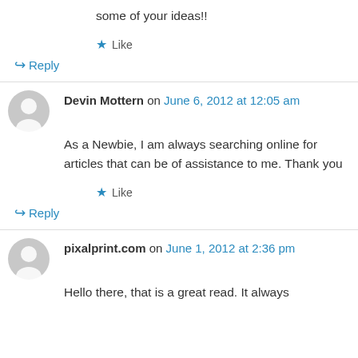some of your ideas!!
★ Like
↪ Reply
Devin Mottern on June 6, 2012 at 12:05 am
As a Newbie, I am always searching online for articles that can be of assistance to me. Thank you
★ Like
↪ Reply
pixalprint.com on June 1, 2012 at 2:36 pm
Hello there, that is a great read. It always